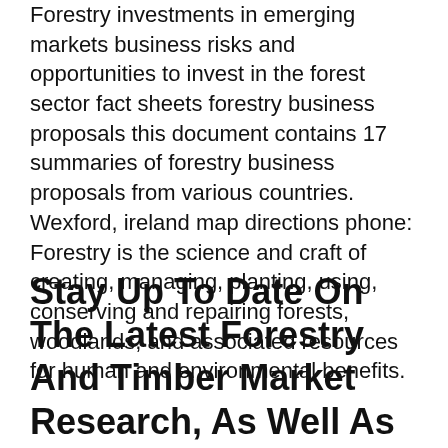Forestry investments in emerging markets business risks and opportunities to invest in the forest sector fact sheets forestry business proposals this document contains 17 summaries of forestry business proposals from various countries. Wexford, ireland map directions phone: Forestry is the science and craft of creating, managing, planting, using, conserving and repairing forests, woodlands, and associated resources for human and environmental benefits.
Stay Up To Date On The Latest Forestry And Timber Market Research, As Well As Agroforestry Best Practices, Policies